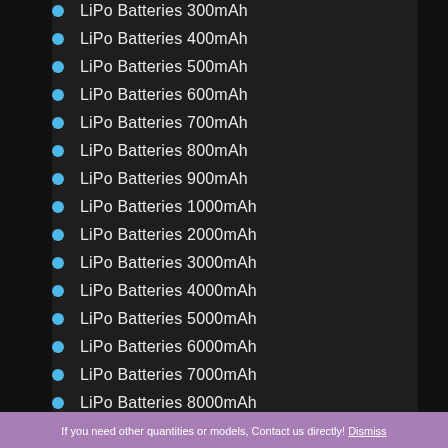LiPo Batteries 300mAh
LiPo Batteries 400mAh
LiPo Batteries 500mAh
LiPo Batteries 600mAh
LiPo Batteries 700mAh
LiPo Batteries 800mAh
LiPo Batteries 900mAh
LiPo Batteries 1000mAh
LiPo Batteries 2000mAh
LiPo Batteries 3000mAh
LiPo Batteries 4000mAh
LiPo Batteries 5000mAh
LiPo Batteries 6000mAh
LiPo Batteries 7000mAh
LiPo Batteries 8000mAh
Rechargeable LiPo Batteries 9000mAh
LiPo Batteries 10000mAh
LiPo Batteries Above 10000mAh
If you need other quantities or models, Contact us directly! Dismiss